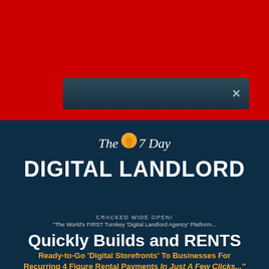[Figure (screenshot): Red background section with a dark dialog/input bar containing an X close button]
[Figure (logo): The 7 Day Digital Landlord logo with orange map pin icon on dark navy background]
CRACKED WIDE OPEN! "The World's FIRST Turnkey 'Digital Landlord Agency' Platform...
Quickly Builds and RENTS
Ready-to-Go 'Digital Storefronts' To Businesses For Recurring 4 Figure Rental Payments In Just A Few Clicks..."